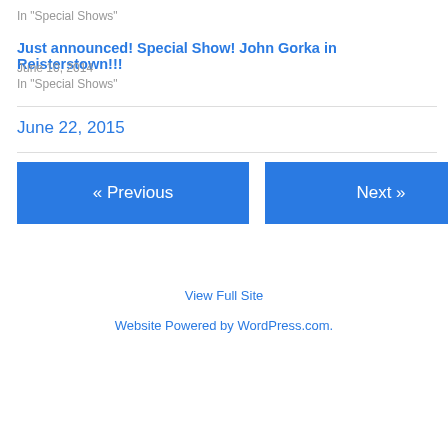In "Special Shows"
Just announced! Special Show! John Gorka in Reisterstown!!!
June 10, 2014
In "Special Shows"
June 22, 2015
« Previous
Next »
View Full Site
Website Powered by WordPress.com.